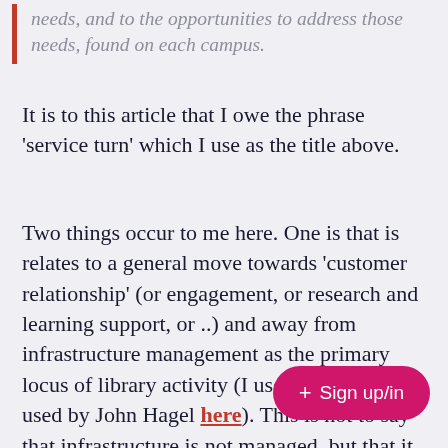needs, and to the opportunities to address those needs, found on each campus.
It is to this article that I owe the phrase 'service turn' which I use as the title above.
Two things occur to me here. One is that is relates to a general move towards 'customer relationship' (or engagement, or research and learning support, or ..) and away from infrastructure management as the primary locus of library activity (I use these terms as used by John Hagel here). This is not to say that infrastructure is not managed, but that it may increasingly be shared or ou[tsourced. An] interesting example of this trend[…], which is being reshaped around library users